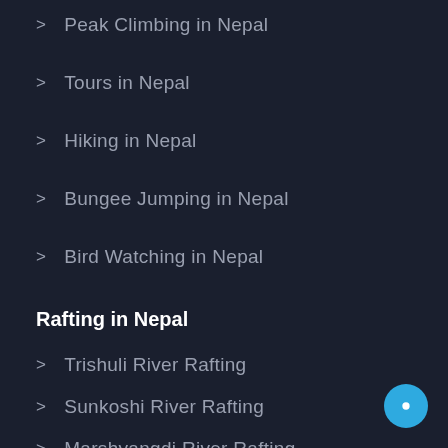Peak Climbing in Nepal
Tours in Nepal
Hiking in Nepal
Bungee Jumping in Nepal
Bird Watching in Nepal
Rafting in Nepal
Trishuli River Rafting
Sunkoshi River Rafting
Marshyangdi River Rafting
Karnali River Rafting